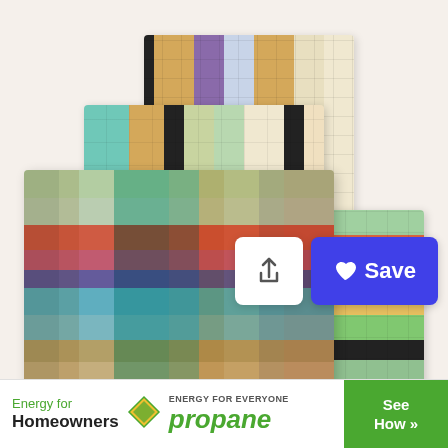[Figure (photo): Stack of three colorful woven plaid/madras fabric pieces folded and arranged overlapping each other. The fabrics feature multicolored checked and plaid patterns in teal, orange, red, purple, blue, green, yellow, and black. Two UI buttons appear in the lower right: a white share/upload button and a blue 'Save' button with a heart icon.]
[Figure (infographic): Advertisement banner for propane energy. Left side shows 'Energy for Homeowners' in green and black text. Center has a diamond/rhombus logo icon in yellow and green colors, with 'ENERGY FOR EVERYONE' in small caps above 'propane' in large italic green font. Right side has a green call-to-action button reading 'See How »'.]